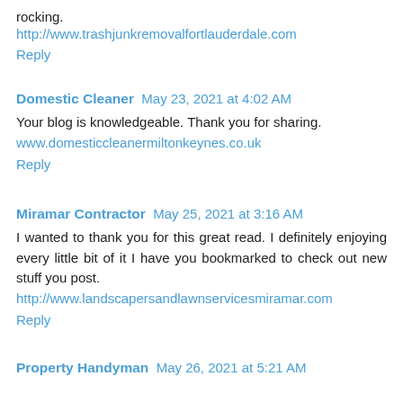rocking.
http://www.trashjunkremovalfortlauderdale.com
Reply
Domestic Cleaner  May 23, 2021 at 4:02 AM
Your blog is knowledgeable. Thank you for sharing.
www.domesticcleanermiltonkeynes.co.uk
Reply
Miramar Contractor  May 25, 2021 at 3:16 AM
I wanted to thank you for this great read. I definitely enjoying every little bit of it I have you bookmarked to check out new stuff you post.
http://www.landscapersandlawnservicesmiramar.com
Reply
Property Handyman  May 26, 2021 at 5:21 AM